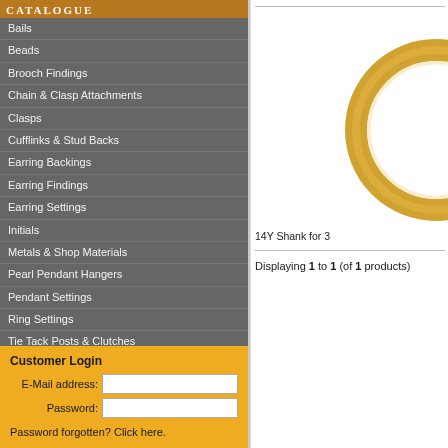CATALOGUE
Bails
Beads
Brooch Findings
Chain & Clasp Attachments
Clasps
Cufflinks & Stud Backs
Earring Backings
Earring Findings
Earring Settings
Initials
Metals & Shop Materials
Pearl Pendant Hangers
Pendant Settings
Ring Settings
Tie Tack Posts & Clutches
Arthritic Shanks & Ring Guards
Shanks
Customer Login
E-Mail address:
Password:
Password forgotten? Click here.
[Figure (photo): Partial view of a gold ring (14Y Shank)]
14Y Shank for 3
Displaying 1 to 1 (of 1 products)